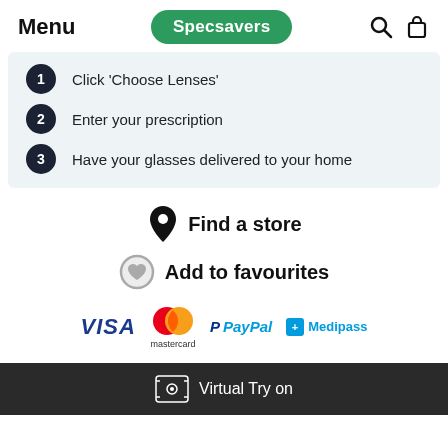Menu  Specsavers
1  Click 'Choose Lenses'
2  Enter your prescription
3  Have your glasses delivered to your home
Find a store
Add to favourites
[Figure (logo): Payment method logos: VISA, Mastercard, PayPal, Medipass]
Virtual Try on